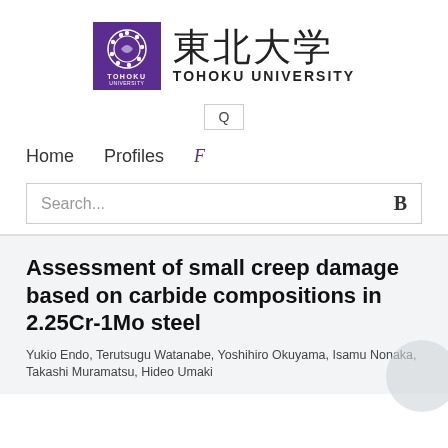[Figure (logo): Tohoku University logo: purple square with circular emblem and TOHOKU UNIVERSITY text alongside Japanese kanji 東北大学]
[Figure (screenshot): Search icon Q in a bordered box]
Home   Profiles   F
Search...   B
Assessment of small creep damage based on carbide compositions in 2.25Cr-1Mo steel
Yukio Endo, Terutsugu Watanabe, Yoshihiro Okuyama, Isamu Nonaka, Takashi Muramatsu, Hideo Umaki